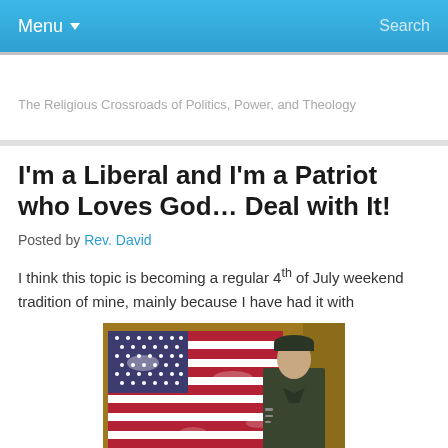Menu ▾   Search
The Religious Crossroads of Politics, Power, and Theology
I'm a Liberal and I'm a Patriot who Loves God… Deal with It!
Posted by Rev. David
I think this topic is becoming a regular 4th of July weekend tradition of mine, mainly because I have had it with
[Figure (photo): Person in military uniform standing in front of a large American flag hanging on a wall, with a placard/plaque at the bottom]